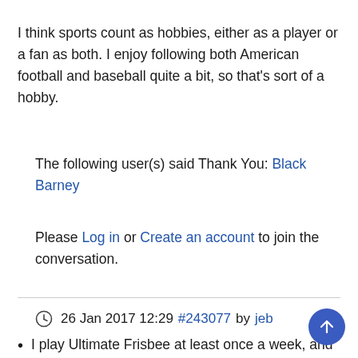I think sports count as hobbies, either as a player or a fan as both. I enjoy following both American football and baseball quite a bit, so that's sort of a hobby.
The following user(s) said Thank You: Black Barney
Please Log in or Create an account to join the conversation.
26 Jan 2017 12:29 #243077 by jeb
I play Ultimate Frisbee at least once a week, and I try to go twice, but that second game is at the whims of my children's